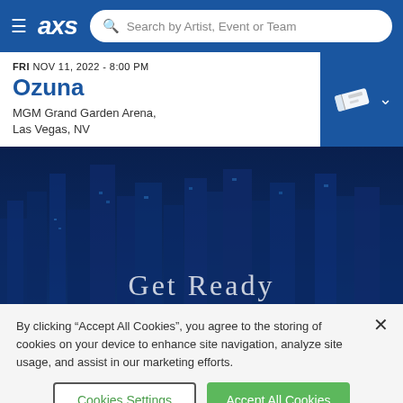AXS — Search by Artist, Event or Team
FRI NOV 11, 2022 - 8:00 PM
Ozuna
MGM Grand Garden Arena, Las Vegas, NV
[Figure (screenshot): AXS website hero image showing a dark blue cityscape aerial view with text 'Get Ready' partially visible at the bottom]
By clicking "Accept All Cookies", you agree to the storing of cookies on your device to enhance site navigation, analyze site usage, and assist in our marketing efforts.
Cookies Settings
Accept All Cookies